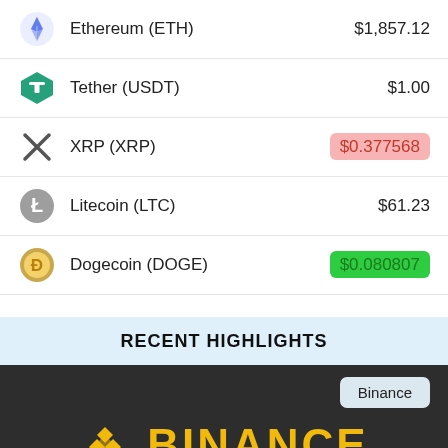| Icon | Cryptocurrency | Price |
| --- | --- | --- |
| ETH | Ethereum (ETH) | $1,857.12 |
| USDT | Tether (USDT) | $1.00 |
| XRP | XRP (XRP) | $0.377568 |
| LTC | Litecoin (LTC) | $61.23 |
| DOGE | Dogecoin (DOGE) | $0.080807 |
RECENT HIGHLIGHTS
[Figure (screenshot): Binance dark banner with Binance logo in gold, and a light blue Binance badge in the top right corner.]